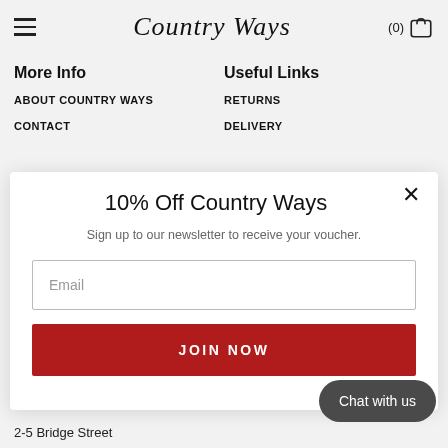Country Ways (0) [cart icon]
More Info
Useful Links
ABOUT COUNTRY WAYS
RETURNS
CONTACT
DELIVERY
10% Off Country Ways
Sign up to our newsletter to receive your voucher.
Email
JOIN NOW
Chat with us
2-5 Bridge Street